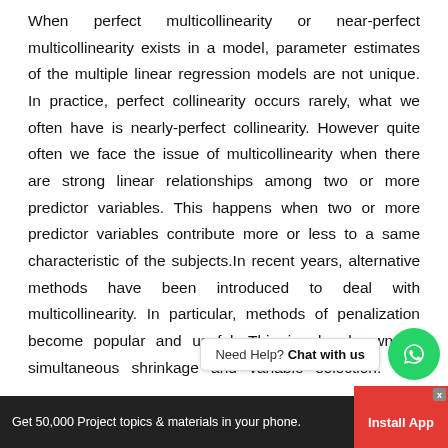When perfect multicollinearity or near-perfect multicollinearity exists in a model, parameter estimates of the multiple linear regression models are not unique. In practice, perfect collinearity occurs rarely, what we often have is nearly-perfect collinearity. However quite often we face the issue of multicollinearity when there are strong linear relationships among two or more predictor variables. This happens when two or more predictor variables contribute more or less to a same characteristic of the subjects.In recent years, alternative methods have been introduced to deal with multicollinearity. In particular, methods of penalization become popular and useful. This is also known as simultaneous shrinkage and variable selection. The purpose of this study is to assess thestatistical performance ... e
[Figure (other): WhatsApp chat support widget with 'Need Help? Chat with us' bubble and green WhatsApp circle button]
Get 50,000 Project topics & materials in your phone. Install App x